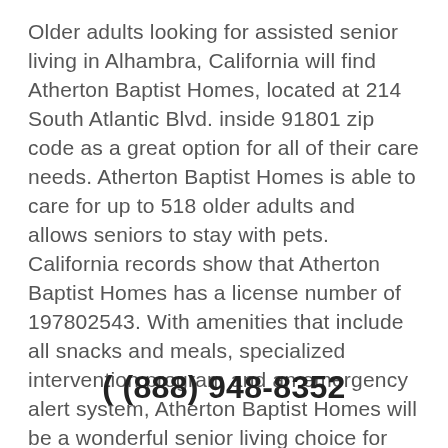Older adults looking for assisted senior living in Alhambra, California will find Atherton Baptist Homes, located at 214 South Atlantic Blvd. inside 91801 zip code as a great option for all of their care needs. Atherton Baptist Homes is able to care for up to 518 older adults and allows seniors to stay with pets. California records show that Atherton Baptist Homes has a license number of 197802543. With amenities that include all snacks and meals, specialized intervention program and an emergency alert system, Atherton Baptist Homes will be a wonderful senior living choice for any older adult.
( (888) 948-8352